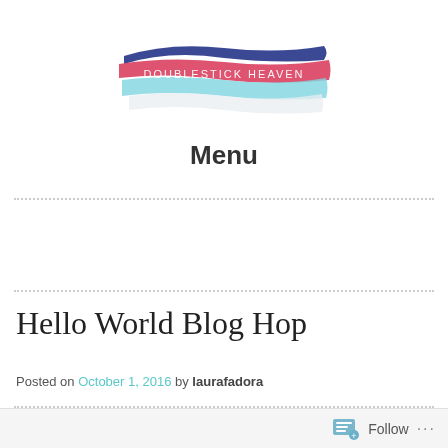[Figure (logo): Doublestick Heaven blog logo — layered watercolor brush strokes in blue, pink/red, and light blue/white with white text reading 'DOUBLESTICK HEAVEN']
Menu
Hello World Blog Hop
Posted on October 1, 2016 by laurafadora
Follow ...